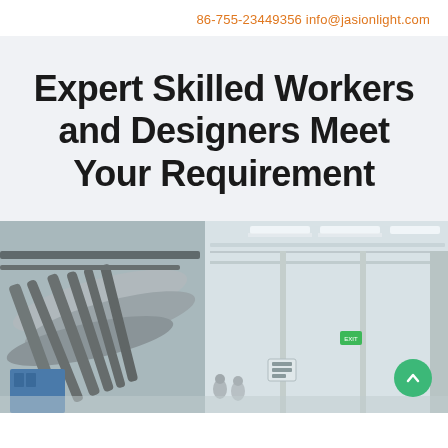86-755-23449356 info@jasionlight.com
Expert Skilled Workers and Designers Meet Your Requirement
[Figure (photo): Factory interior showing industrial ductwork, pipes, and lighting installation in a clean manufacturing facility. Workers visible in background. A green scroll-up button overlays the bottom-right corner.]